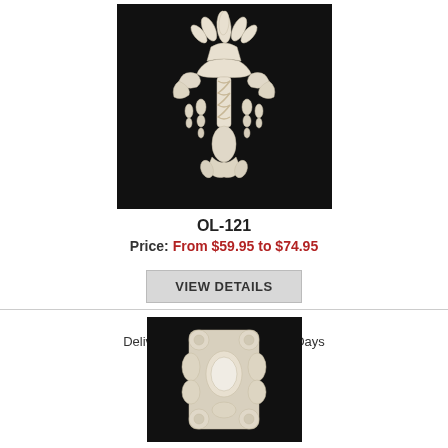[Figure (photo): White ornamental resin wall applique with acanthus leaf and chandelier-style design on black background]
OL-121
Price: From $59.95 to $74.95
VIEW DETAILS
Stainable Resin
Delivery Time: 5-14 Business Days
[Figure (photo): White ornamental resin decorative medallion with oval center and scrollwork on black background]